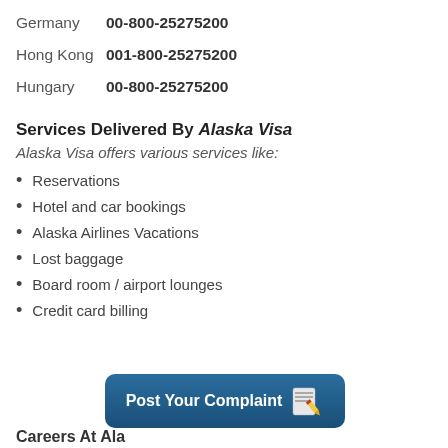Germany   00-800-25275200
Hong Kong  001-800-25275200
Hungary   00-800-25275200
Services Delivered By Alaska Visa
Alaska Visa offers various services like:
Reservations
Hotel and car bookings
Alaska Airlines Vacations
Lost baggage
Board room / airport lounges
Credit card billing
[Figure (other): Button labeled 'Post Your Complaint' with a notepad and pencil icon, dark blue rounded rectangle background]
Careers At Ala...